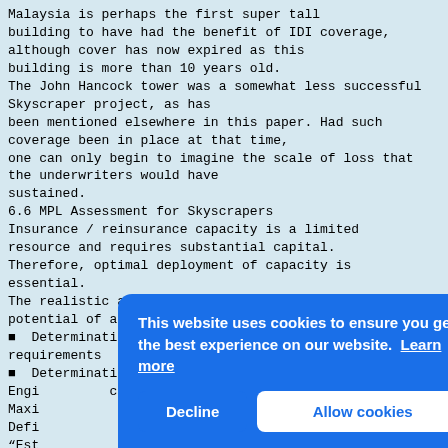Malaysia is perhaps the first super tall building to have had the benefit of IDI coverage, although cover has now expired as this building is more than 10 years old.
The John Hancock tower was a somewhat less successful Skyscraper project, as has been mentioned elsewhere in this paper. Had such coverage been in place at that time, one can only begin to imagine the scale of loss that the underwriters would have sustained.
6.6 MPL Assessment for Skyscrapers
Insurance / reinsurance capacity is a limited resource and requires substantial capital. Therefore, optimal deployment of capacity is essential.
The realistic and reliable assessment of the loss potential of any one risk is the basis for;
■  Determination of a retention in relation to capital requirements
■  Determination of reinsurance needs
Engi[...] capa[...] Maxi[...] Defi[...]
"Est[...] sust[...] occu[...] with[...] This[...] may remain highly improbable."
The definition of what is "probable" is in many cases
[Figure (other): Cookie consent banner overlay with blue background. Text: 'This website uses cookies to ensure you get the best experience on our website. Learn more'. Two buttons: 'Decline' and 'Allow cookies'.]